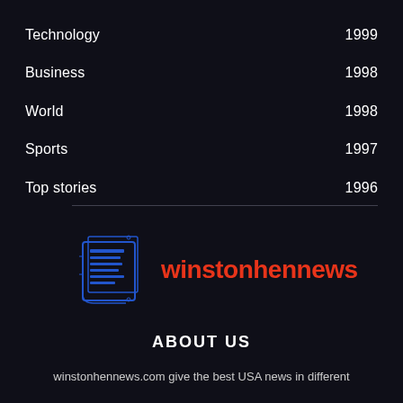Technology   1999
Business   1998
World   1998
Sports   1997
Top stories   1996
[Figure (logo): winstonhennews logo: blue newspaper icon with red text 'winstonhennews']
ABOUT US
winstonhennews.com give the best USA news in different